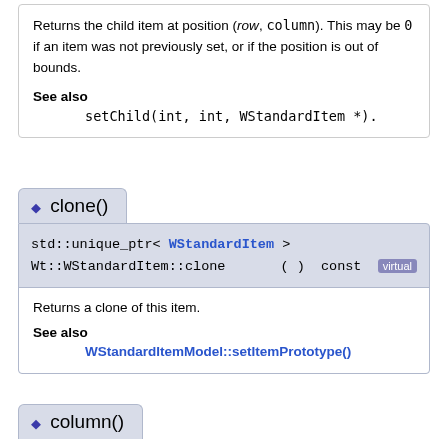Returns the child item at position (row, column). This may be 0 if an item was not previously set, or if the position is out of bounds.
See also
setChild(int, int, WStandardItem *).
clone()
std::unique_ptr< WStandardItem >
Wt::WStandardItem::clone ( ) const  virtual
Returns a clone of this item.
See also
WStandardItemModel::setItemPrototype()
column()